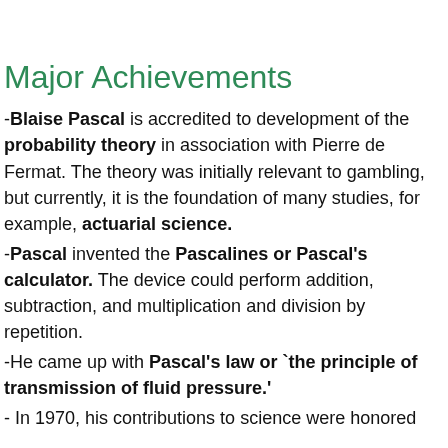Major Achievements
-Blaise Pascal is accredited to development of the probability theory in association with Pierre de Fermat. The theory was initially relevant to gambling, but currently, it is the foundation of many studies, for example, actuarial science.
-Pascal invented the Pascalines or Pascal's calculator. The device could perform addition, subtraction, and multiplication and division by repetition.
-He came up with Pascal's law or `the principle of transmission of fluid pressure.'
- In 1970, his contributions to science were honored